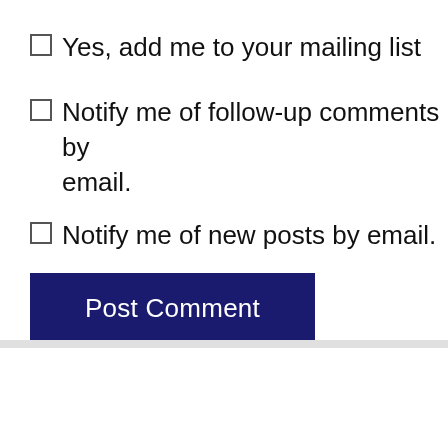Yes, add me to your mailing list
Notify me of follow-up comments by email.
Notify me of new posts by email.
Post Comment
[Figure (other): Website footer area with a dark navy horizontal bar, a light blue-grey banner with a curved aqua line design, a red diagonal badge with text 'ALUM HERE', and a dark grey scroll-to-top button.]